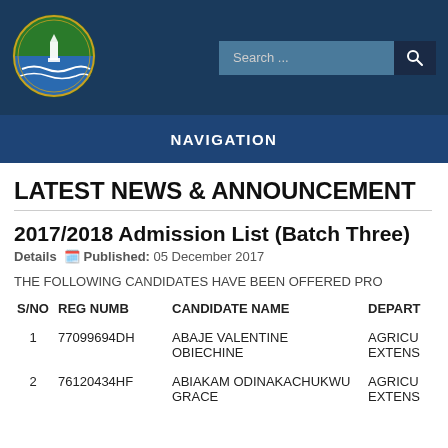NAVIGATION
LATEST NEWS & ANNOUNCEMENT
2017/2018 Admission List (Batch Three)
Details  Published: 05 December 2017
THE FOLLOWING CANDIDATES HAVE BEEN OFFERED PRO
| S/NO | REG NUMB | CANDIDATE NAME | DEPART |
| --- | --- | --- | --- |
| 1 | 77099694DH | ABAJE VALENTINE OBIECHINE | AGRICU EXTENS |
| 2 | 76120434HF | ABIAKAM ODINAKACHUKWU GRACE | AGRICU EXTENS |